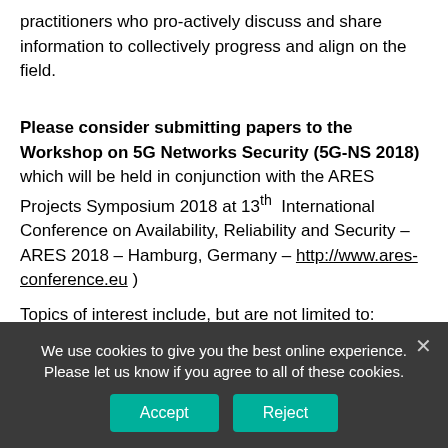practitioners who pro-actively discuss and share information to collectively progress and align on the field.
Please consider submitting papers to the Workshop on 5G Networks Security (5G-NS 2018) which will be held in conjunction with the ARES Projects Symposium 2018 at 13th International Conference on Availability, Reliability and Security – ARES 2018 – Hamburg, Germany – http://www.ares-conference.eu )
Topics of interest include, but are not limited to:
• Security Architecture and Technologies for 5G
We use cookies to give you the best online experience. Please let us know if you agree to all of these cookies.